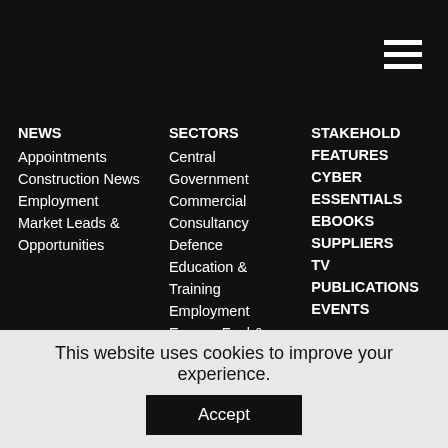[Figure (screenshot): Hamburger/menu icon (three white horizontal lines on black background) in top-right corner]
NEWS
Appointments
Construction News
Employment
Market Leads & Opportunities
SECTORS
Central Government
Commercial
Consultancy
Defence
Education & Training
Employment
Energy, Fuel & Utilities
Environment
Finance & Legislation
Fire Safety
Fleet
Health
Health & Safety
Heating & Ventilation (truncated)
STAKEHOLD FEATURES
CYBER ESSENTIALS
EBOOKS
SUPPLIERS
TV
PUBLICATIONS
EVENTS
This website uses cookies to improve your experience.
Accept